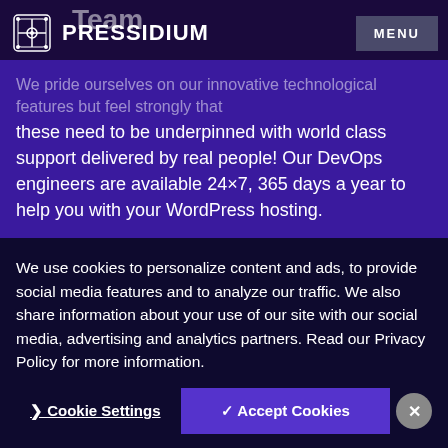Team
PRESSIDIUM  MENU
We pride ourselves on our innovative technological features but feel strongly that these need to be underpinned with world class support delivered by real people! Our DevOps engineers are available 24×7, 365 days a year to help you with your WordPress hosting.
We have no Tier 1 and Tier 2 support categories, just highly trained WordPress experts who will work tirelessly to resolve
We use cookies to personalize content and ads, to provide social media features and to analyze our traffic. We also share information about your use of our site with our social media, advertising and analytics partners. Read our Privacy Policy for more information.
Cookie Settings   ✓ Accept Cookies